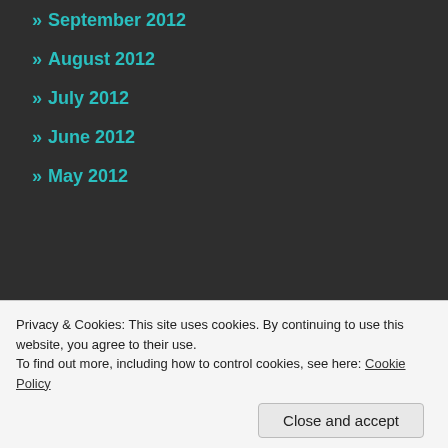» September 2012
» August 2012
» July 2012
» June 2012
» May 2012
Search ...
Advertisements
Privacy & Cookies: This site uses cookies. By continuing to use this website, you agree to their use.
To find out more, including how to control cookies, see here: Cookie Policy
Close and accept